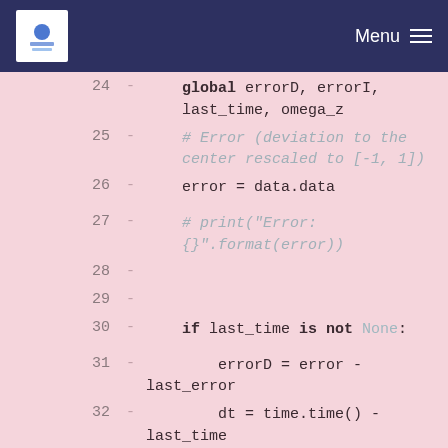Menu
[Figure (screenshot): Code editor screenshot showing Python code lines 24-39 with diff markers on pink background. Lines include global variable declarations, error calculation, PID control logic with if/else branches, and omega_z computation.]